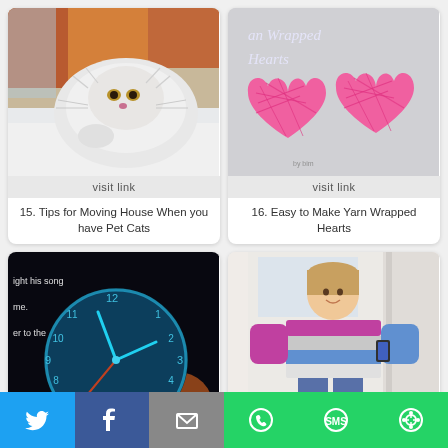[Figure (photo): White fluffy cat lying down with golden eyes, on white bedding, with orange/red curtain background]
visit link
15. Tips for Moving House When you have Pet Cats
[Figure (photo): Two pink yarn-wrapped heart shapes on a grey background, with cursive text 'Yarn Wrapped Hearts' overlay]
visit link
16. Easy to Make Yarn Wrapped Hearts
[Figure (photo): Dark background with a glowing teal alarm clock and partial text quoting a song lyric]
[Figure (photo): Woman taking a mirror selfie wearing a colorful striped sweater and jeans]